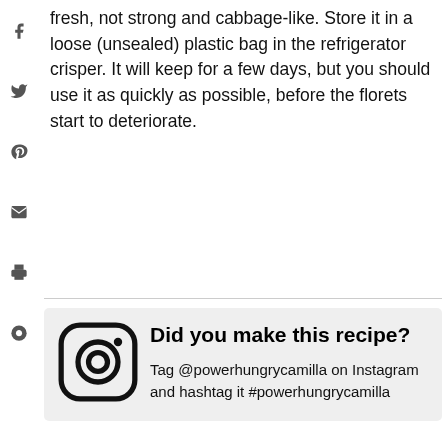fresh, not strong and cabbage-like. Store it in a loose (unsealed) plastic bag in the refrigerator crisper. It will keep for a few days, but you should use it as quickly as possible, before the florets start to deteriorate.
[Figure (infographic): Instagram promotion box with Instagram camera icon on left and bold text 'Did you make this recipe?' with subtext 'Tag @powerhungrycamilla on Instagram and hashtag it #powerhungrycamilla']
Camilla
WHAT'S NEXT → {2-Minute} Chocolate...
[Figure (infographic): Operation Gratitude advertisement banner with 'Thank you!' text, American flag imagery, healthcare workers photo, and Operation Gratitude logo]